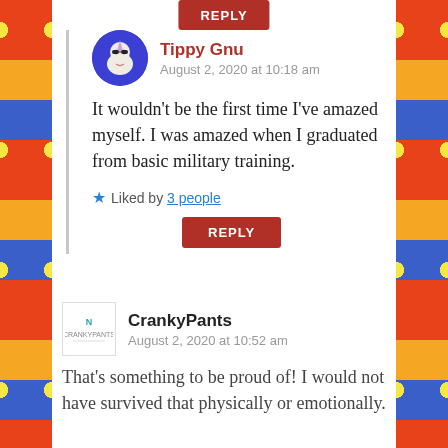[Figure (other): Partial REPLY button at top]
Tippy Gnu
August 2, 2020 at 10:18 am
It wouldn't be the first time I've amazed myself. I was amazed when I graduated from basic military training.
Liked by 3 people
REPLY
CrankyPants
August 2, 2020 at 10:52 am
That's something to be proud of! I would not have survived that physically or emotionally.